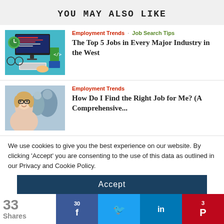YOU MAY ALSO LIKE
[Figure (illustration): Top-down view of a desk with a computer, keyboard, coffee cup, glasses, and books]
Employment Trends · Job Search Tips
The Top 5 Jobs in Every Major Industry in the West
[Figure (photo): Woman with glasses smiling with colleagues in office background]
Employment Trends
How Do I Find the Right Job for Me? (A Comprehensive...
We use cookies to give you the best experience on our website. By clicking 'Accept' you are consenting to the use of this data as outlined in our Privacy and Cookie Policy.
Accept
33 Shares
30
3